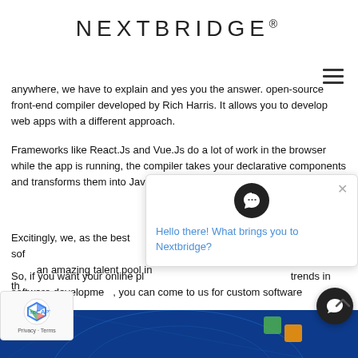NEXTBRIDGE®
anywhere, we have to explain and yes you the answer. open-source front-end compiler developed by Rich Harris. It allows you to develop web apps with a different approach.
Frameworks like React.Js and Vue.Js do a lot of work in the browser while the app is running, the compiler takes your declarative components and transforms them into Javascript codes.
Excitingly, we, as the best software development company have an amazing talent pool in the...
So, if you want your online platform to stay up with the latest trends in software development, you can come to us for custom software solutions.
[Figure (screenshot): Chat widget overlay showing Nextbridge logo icon and message 'Hello there! What brings you to Nextbridge?']
[Figure (illustration): Blue digital globe network image at the bottom of the page]
[Figure (logo): reCAPTCHA verification box with Privacy and Terms text]